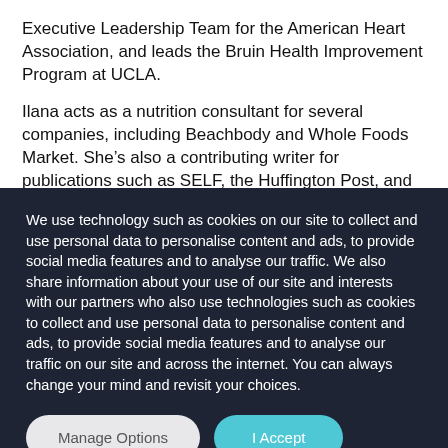Executive Leadership Team for the American Heart Association, and leads the Bruin Health Improvement Program at UCLA.
Ilana acts as a nutrition consultant for several companies, including Beachbody and Whole Foods Market. She’s also a contributing writer for publications such as SELF, the Huffington Post, and the Journal of Obesity. At home, she is a wife and mother of two.
We use technology such as cookies on our site to collect and use personal data to personalise content and ads, to provide social media features and to analyse our traffic. We also share information about your use of our site and interests with our partners who also use technologies such as cookies to collect and use personal data to personalise content and ads, to provide social media features and to analyse our traffic on our site and across the internet. You can always change your mind and revisit your choices.